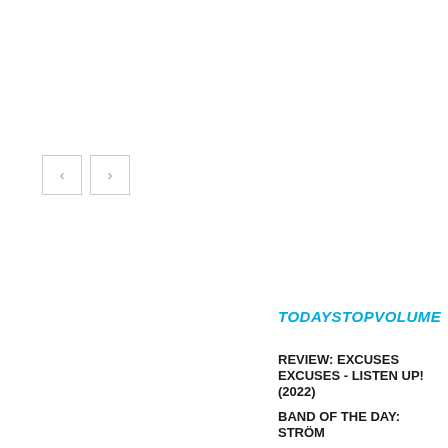[Figure (screenshot): Navigation previous/next arrow buttons in grey bordered boxes]
TODAYSTOPVOLUME
REVIEW: EXCUSES EXCUSES - LISTEN UP! (2022)
BAND OF THE DAY: STRÖM
REVIEW : JOE PUG – NATION OF HEAT (REVISITED) (2022)
REVIEW: JON PARDI - MR